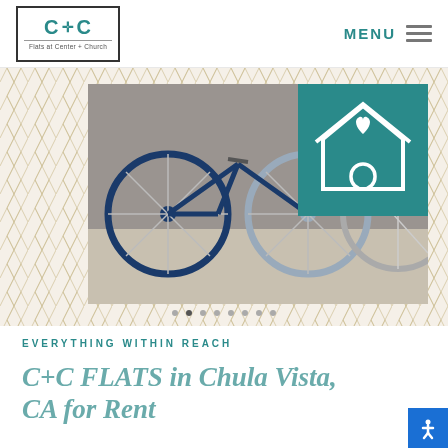[Figure (logo): C+C logo with cross symbol, text 'Flats at Center + Church']
MENU
[Figure (photo): Photo of bicycles leaning against a concrete wall with herringbone pattern decoration and teal house icon overlay]
EVERYTHING WITHIN REACH
C+C FLATS in Chula Vista, CA for Rent